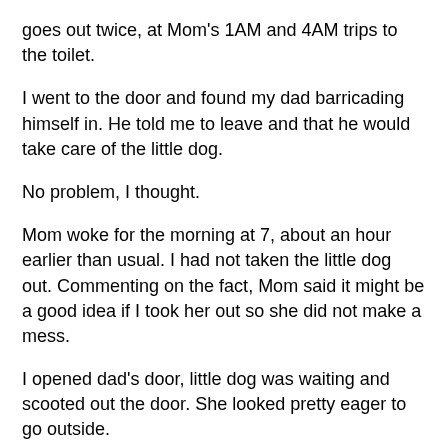goes out twice, at Mom's 1AM and 4AM trips to the toilet.
I went to the door and found my dad barricading himself in. He told me to leave and that he would take care of the little dog.
No problem, I thought.
Mom woke for the morning at 7, about an hour earlier than usual. I had not taken the little dog out. Commenting on the fact, Mom said it might be a good idea if I took her out so she did not make a mess.
I opened dad's door, little dog was waiting and scooted out the door. She looked pretty eager to go outside.
Ten minutes later dad came out his door and he was breathing fire.
He gave me repeated ass-chewings for disobeying him, for invading his space, for kidnapping the little dog. I made dutiful son sounds, I "Yessirred", hung my head, apologized,